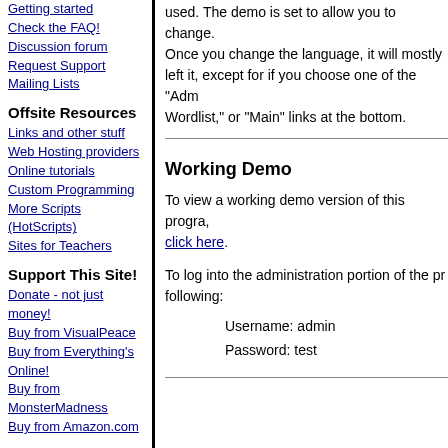Getting started
Check the FAQ!
Discussion forum
Request Support
Mailing Lists
Offsite Resources
Links and other stuff
Web Hosting providers
Online tutorials
Custom Programming
More Scripts (HotScripts)
Sites for Teachers
Support This Site!
Donate - not just money!
Buy from VisualPeace
Buy from Everything's Online!
Buy from MonsterMadness
Buy from Amazon.com
used. The demo is set to allow you to change. Once you change the language, it will mostly left it, except for if you choose one of the "Adm Wordlist," or "Main" links at the bottom.
Working Demo
To view a working demo version of this progra, click here.
To log into the administration portion of the pr following:
Username: admin
Password: test